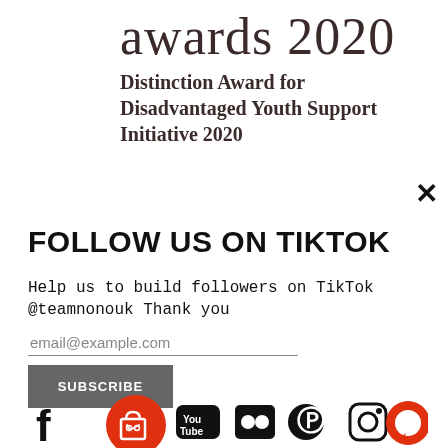awards 2020
Distinction Award for Disadvantaged Youth Support Initiative 2020
FOLLOW US ON TIKTOK
Help us to build followers on TikTok @teamnonouk Thank you
email@example.com
SUBSCRIBE
[Figure (illustration): Social media icons row: Facebook, red shopping bag circle overlay, YouTube, Flickr, Pinterest, Instagram; red chat bubble circle on right]